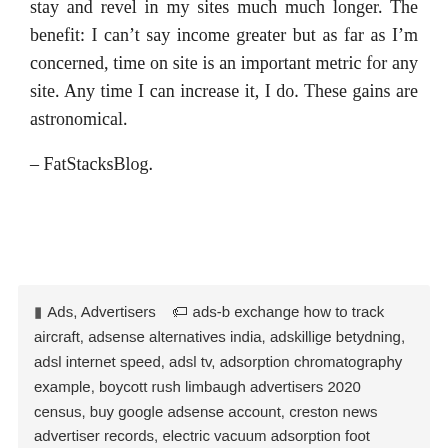stay and revel in my sites much much longer. The benefit: I can't say income greater but as far as I'm concerned, time on site is an important metric for any site. Any time I can increase it, I do. These gains are astronomical.
– FatStacksBlog.
Ads, Advertisers   ads-b exchange how to track aircraft, adsense alternatives india, adskillige betydning, adsl internet speed, adsl tv, adsorption chromatography example, boycott rush limbaugh advertisers 2020 census, buy google adsense account, creston news advertiser records, electric vacuum adsorption foot grinder reviews, glenn beck sponsors advertisers 2017 chevy trax, honolulu advertiser obituaries customer service, laura ingraham